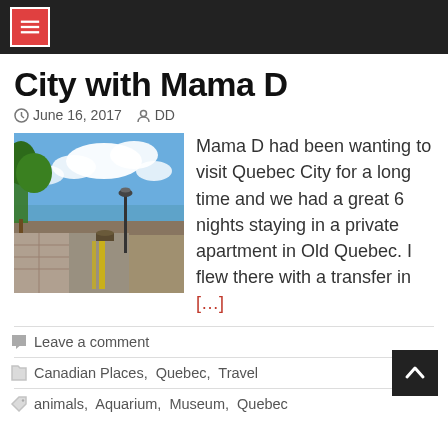City with Mama D
City with Mama D
June 16, 2017   DD
[Figure (photo): Outdoor scene with lamp post, terrace, trees and blue sky with clouds, near a waterfront.]
Mama D had been wanting to visit Quebec City for a long time and we had a great 6 nights staying in a private apartment in Old Quebec. I flew there with a transfer in [...]
Leave a comment
Canadian Places,  Quebec,  Travel
animals,  Aquarium,  Museum,  Quebec